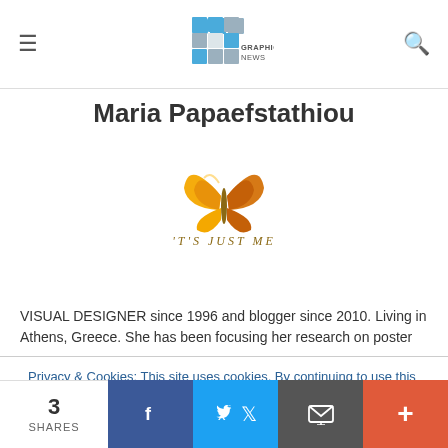Graphicart News – site header with navigation
Maria Papaefstathiou
[Figure (logo): Butterfly logo with text 'IT'S JUST ME']
VISUAL DESIGNER since 1996 and blogger since 2010. Living in Athens, Greece. She has been focusing her research on poster
Privacy & Cookies: This site uses cookies. By continuing to use this website, you agree to their use. To find out more, including how to control cookies, see here: Cookie Policy
3 SHARES | Facebook | Twitter | Email | More